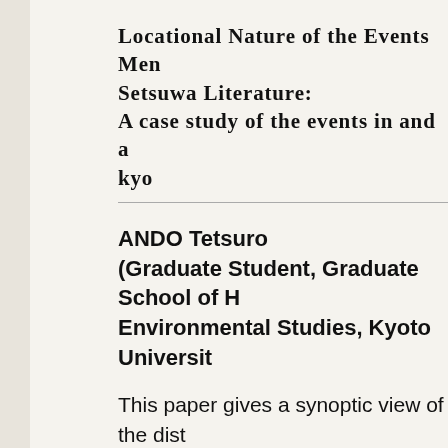Locational Nature of the Events Mentioned in Setsuwa Literature: A case study of the events in and around Kyo
ANDO Tetsuro
(Graduate Student, Graduate School of Human and Environmental Studies, Kyoto University)
This paper gives a synoptic view of the distribution of places mentioned in the setsuwa stories compiled during the late Heian and early Kamakura periods [the 12th century to the first half of the 13th centuries]. The author deals with places that were described as the staging areas for...